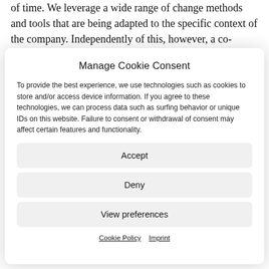of time. We leverage a wide range of change methods and tools that are being adapted to the specific context of the company. Independently of this, however, a co-creative
Manage Cookie Consent
To provide the best experience, we use technologies such as cookies to store and/or access device information. If you agree to these technologies, we can process data such as surfing behavior or unique IDs on this website. Failure to consent or withdrawal of consent may affect certain features and functionality.
Accept
Deny
View preferences
Cookie Policy   Imprint